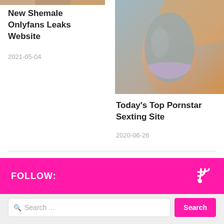New Shemale Onlyfans Leaks Website
2021-05-04
[Figure (photo): Close-up photo of a person in sportswear from behind]
Today's Top Pornstar Sexting Site
2020-06-26
FOLLOW:
Search ...